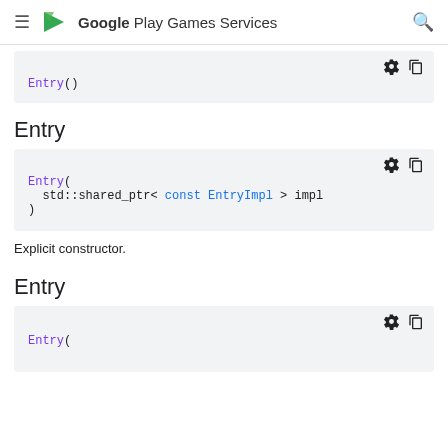Google Play Games Services
[Figure (screenshot): Code block showing Entry() constructor]
Entry
[Figure (screenshot): Code block showing Entry( std::shared_ptr< const EntryImpl > impl )]
Explicit constructor.
Entry
[Figure (screenshot): Code block showing Entry( partial, cut off at bottom]